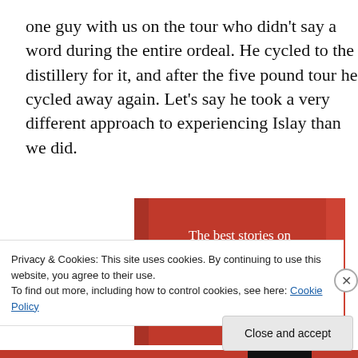one guy with us on the tour who didn't say a word during the entire ordeal. He cycled to the distillery for it, and after the five pound tour he cycled away again. Let's say he took a very different approach to experiencing Islay than we did.
[Figure (infographic): Red banner advertisement reading 'The best stories on the web – ours, and everyone else's.' with a black 'Start reading' button]
Privacy & Cookies: This site uses cookies. By continuing to use this website, you agree to their use.
To find out more, including how to control cookies, see here: Cookie Policy
Close and accept